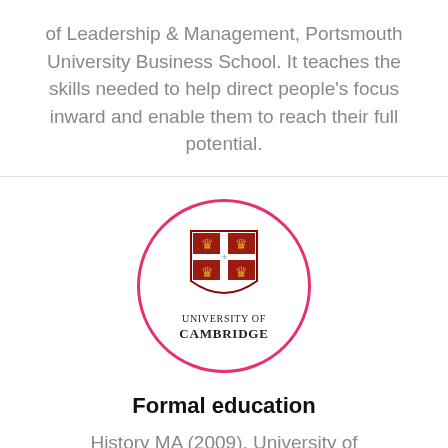of Leadership & Management, Portsmouth University Business School. It teaches the skills needed to help direct people's focus inward and enable them to reach their full potential.
[Figure (logo): University of Cambridge logo — heraldic shield with lions and cross, surrounded by a pink/red circle, with text UNIVERSITY OF CAMBRIDGE below the shield]
Formal education
History MA (2009), University of Cambridge, UK